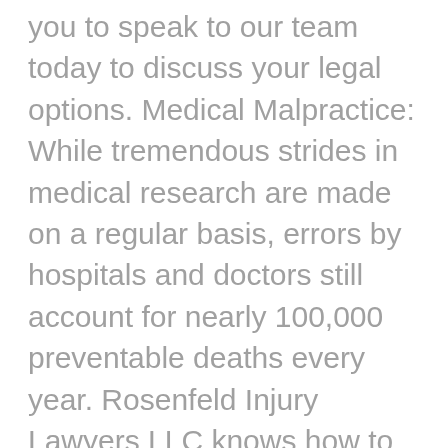you to speak to our team today to discuss your legal options. Medical Malpractice: While tremendous strides in medical research are made on a regular basis, errors by hospitals and doctors still account for nearly 100,000 preventable deaths every year. Rosenfeld Injury Lawyers LLC knows how to dissect a situation to determine what happened and where errors may have been made. Our office has experience prosecuting medical malpractice cases involving surgical erorrs, anesthesia errors, nursing